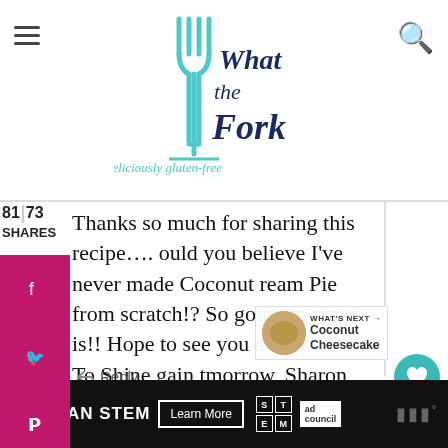[Figure (logo): What the Fork logo - teal fork icon with cursive script text 'What the Fork' and subtitle 'deliciously gluten-free']
81 73
SHARES
Thanks so much for sharing this recipe…. ould you believe I've never made Coconut ream Pie from scratch!? So going to make is!! Hope to see you at Your Turn To Shine again tmorrow, Sharon 🙂
Reply
8.2K
WHAT'S NEXT → Coconut Cheesecake
Sharon
[Figure (other): SHE CAN STEM advertisement banner with Learn More button, STEM grid logo, and Ad Council logo]